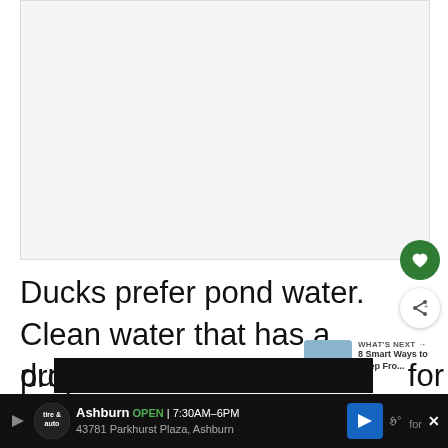[Figure (other): Blank/white image placeholder area at the top of the page]
Ducks prefer pond water. Clean water that has a proper level of chlorine in it doesn't look or smell the same a water. This can be enough to keep the du ing for
[Figure (other): WHAT'S NEXT arrow label with thumbnail image and text: 8 Smart Ways to Keep Fro...]
[Figure (other): Advertisement bar: Tire & Auto logo, Ashburn OPEN 7:30AM-6PM, 43781 Parkhurst Plaza, Ashburn, navigation arrow icon]